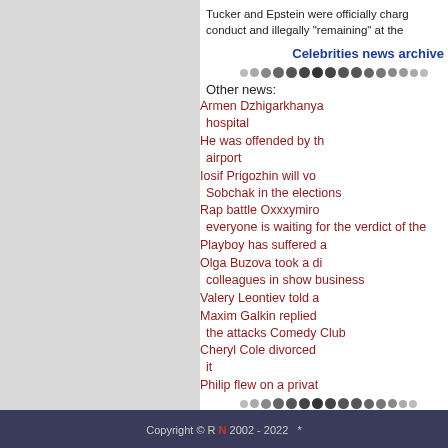Tucker and Epstein were officially charg conduct and illegally "remaining" at the
Celebrities news archive
Other news:
Armen Dzhigarkhanya hospital
He was offended by th airport
Iosif Prigozhin will vo Sobchak in the elections
Rap battle Oxxxymiro everyone is waiting for the verdict of the
Playboy has suffered a
Olga Buzova took a di colleagues in show business
Valery Leontiev told a
Maxim Galkin replied the attacks Comedy Club
Cheryl Cole divorced it
Philip flew on a privat
Copyright © R N 2002 - 2022 *